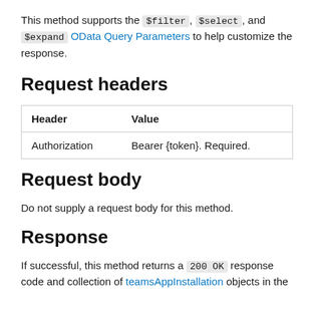This method supports the $filter, $select, and $expand OData Query Parameters to help customize the response.
Request headers
| Header | Value |
| --- | --- |
| Authorization | Bearer {token}. Required. |
Request body
Do not supply a request body for this method.
Response
If successful, this method returns a 200 OK response code and collection of teamsAppInstallation objects in the